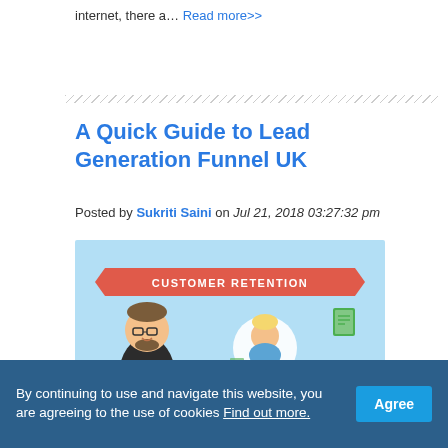internet, there a... Read more>>
A Quick Guide to Lead Generation Funnel UK
Posted by Sukriti Saini on Jul 21, 2018 03:27:32 pm
[Figure (infographic): Customer Retention infographic showing Lead Generation Comapnies UK with cartoon characters and a magnet]
By continuing to use and navigate this website, you are agreeing to the use of cookies Find out more. Agree